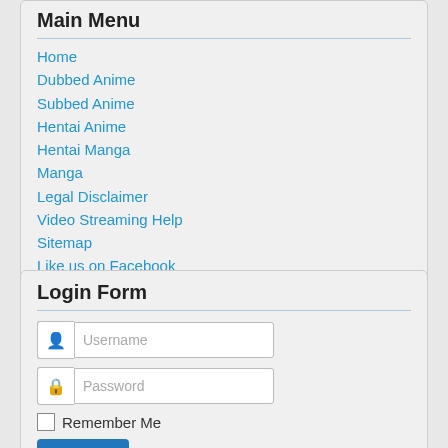Main Menu
Home
Dubbed Anime
Subbed Anime
Hentai Anime
Hentai Manga
Manga
Legal Disclaimer
Video Streaming Help
Sitemap
Like us on Facebook
Login Form
Username
Password
Remember Me
Log in
Forgot your username?